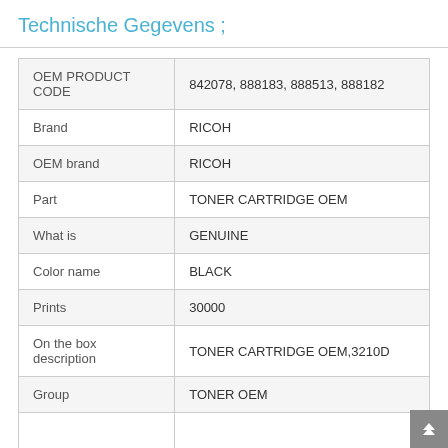Technische Gegevens ;
|  |  |
| --- | --- |
| OEM PRODUCT CODE | 842078, 888183, 888513, 888182 |
| Brand | RICOH |
| OEM brand | RICOH |
| Part | TONER CARTRIDGE OEM |
| What is | GENUINE |
| Color name | BLACK |
| Prints | 30000 |
| On the box description | TONER CARTRIDGE OEM,3210D |
| Group | TONER OEM |